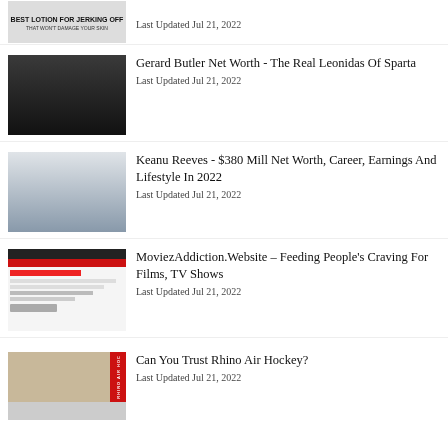[Figure (photo): Ad thumbnail: Best Lotion For Jerking Off – That Won't Damage Your Skin]
Last Updated Jul 21, 2022
[Figure (photo): Photo of Gerard Butler (actor), dark background]
Gerard Butler Net Worth - The Real Leonidas Of Sparta
Last Updated Jul 21, 2022
[Figure (photo): Photo of Keanu Reeves (actor), light gray background, chin resting on hand]
Keanu Reeves - $380 Mill Net Worth, Career, Earnings And Lifestyle In 2022
Last Updated Jul 21, 2022
[Figure (screenshot): Screenshot of MoviezAddiction website with red header and BUY CHEAP REP button]
MoviezAddiction.Website – Feeding People's Craving For Films, TV Shows
Last Updated Jul 21, 2022
[Figure (photo): Photo of Rhino Air Hockey table with red side panel]
Can You Trust Rhino Air Hockey?
Last Updated Jul 21, 2022